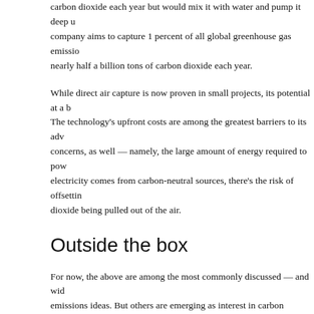carbon dioxide each year but would mix it with water and pump it deep u... company aims to capture 1 percent of all global greenhouse gas emissio... nearly half a billion tons of carbon dioxide each year.
While direct air capture is now proven in small projects, its potential at a b... The technology's upfront costs are among the greatest barriers to its adv... concerns, as well — namely, the large amount of energy required to pow... electricity comes from carbon-neutral sources, there's the risk of offsettin... dioxide being pulled out of the air.
Outside the box
For now, the above are among the most commonly discussed — and wid... emissions ideas. But others are emerging as interest in carbon dioxide re...
Some researchers are investigating ways to funnel captured carbon diox... applications instead of just storing it away: for instance, using it to make s... Finding profitable uses for carbon dioxide could provide greater incentive... carbon-capturing machines.
In the meantime, other scientists are searching for ways to remove other... the atmosphere, such as methane — a shorter-lived but far more potent...
For now, even most research on carbon dioxide removal is highly prelimi...